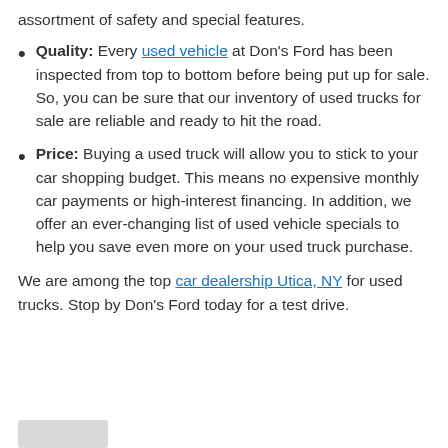assortment of safety and special features.
Quality: Every used vehicle at Don's Ford has been inspected from top to bottom before being put up for sale. So, you can be sure that our inventory of used trucks for sale are reliable and ready to hit the road.
Price: Buying a used truck will allow you to stick to your car shopping budget. This means no expensive monthly car payments or high-interest financing. In addition, we offer an ever-changing list of used vehicle specials to help you save even more on your used truck purchase.
We are among the top car dealership Utica, NY for used trucks. Stop by Don's Ford today for a test drive.